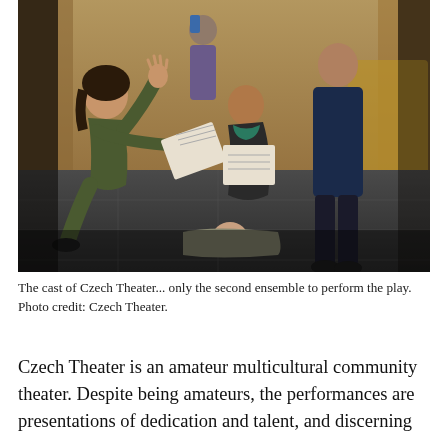[Figure (photo): A theater rehearsal or performance scene showing several people including a person kneeling on the left gesturing with raised hand, a child lying on the floor, a person kneeling in the center holding a script/book, and other cast members standing. The setting appears to be a wooden-walled room with dark tile floor.]
The cast of Czech Theater... only the second ensemble to perform the play. Photo credit: Czech Theater.
Czech Theater is an amateur multicultural community theater. Despite being amateurs, the performances are presentations of dedication and talent, and discerning